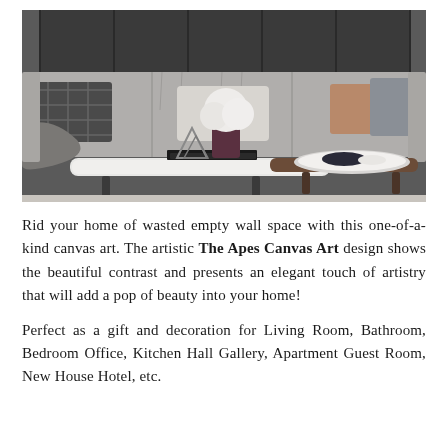[Figure (photo): Interior living room photo showing a modern grey sofa with decorative pillows (plaid, cream, brown, grey), a white marble-top coffee table with a floral arrangement, geometric metal decorative objects, and a round tray with decorative items. Dark background panel behind sofa.]
Rid your home of wasted empty wall space with this one-of-a-kind canvas art. The artistic The Apes Canvas Art design shows the beautiful contrast and presents an elegant touch of artistry that will add a pop of beauty into your home!
Perfect as a gift and decoration for Living Room, Bathroom, Bedroom Office, Kitchen Hall Gallery, Apartment Guest Room, New House Hotel, etc.